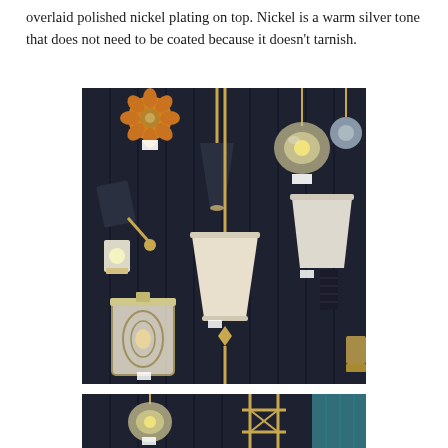overlaid polished nickel plating on top. Nickel is a warm silver tone that does not need to be coated because it doesn't tarnish.
[Figure (photo): Display wall of various wall sconce and pendant light fixtures mounted on dark navy/black paneled wall. Fixtures include floral decorative sconces, globe pendants, arm-style sconces with dark shades, brass torchiere-style sconces, and a large pendant with cream fabric shade. Various styles shown including modern, traditional, and decorative.]
[Figure (photo): Partial view of lighting display wall showing globe pendant lights with brass fittings, a structured brass geometric frame fixture, and hints of teal paneling at right edge.]